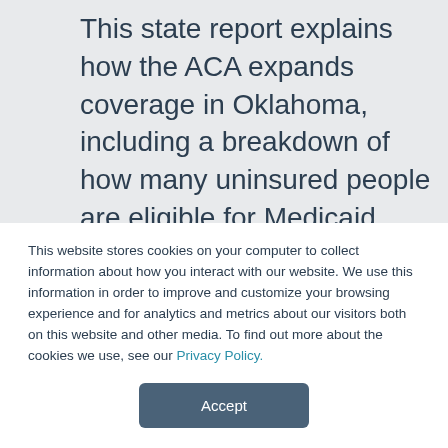This state report explains how the ACA expands coverage in Oklahoma, including a breakdown of how many uninsured people are eligible for Medicaid, how many are eligible for financial assistance to help them buy private insurance in the new Marketplace and how many will not receive any financial assistance at all. The report also details, in specific dollar figures, the income levels at which people in Oklahoma
This website stores cookies on your computer to collect information about how you interact with our website. We use this information in order to improve and customize your browsing experience and for analytics and metrics about our visitors both on this website and other media. To find out more about the cookies we use, see our Privacy Policy.
Accept